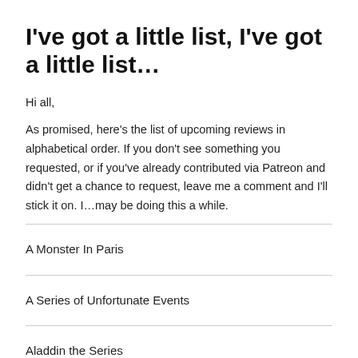I've got a little list, I've got a little list…
Hi all,
As promised, here's the list of upcoming reviews in alphabetical order. If you don't see something you requested, or if you've already contributed via Patreon and didn't get a chance to request, leave me a comment and I'll stick it on. I…may be doing this a while.
A Monster In Paris
A Series of Unfortunate Events
Aladdin the Series